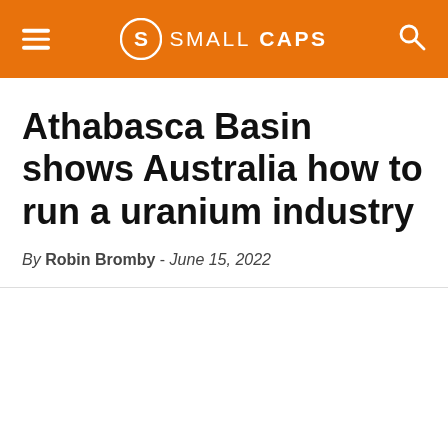SMALL CAPS
Athabasca Basin shows Australia how to run a uranium industry
By Robin Bromby - June 15, 2022